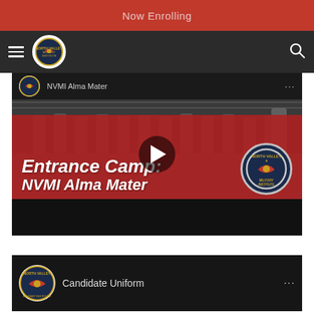Now Enrolling
[Figure (screenshot): Navigation bar with hamburger menu, North Valley Military Institute logo, and search icon on dark background]
[Figure (screenshot): Video thumbnail showing 'Entrance Camp: NVMI Alma Mater' with play button, military cadets in background, red overlay with white bold italic text, and NVMI logo in bottom right]
[Figure (screenshot): Partial video thumbnail showing 'Candidate Uniform' with NVMI logo and three-dot menu]